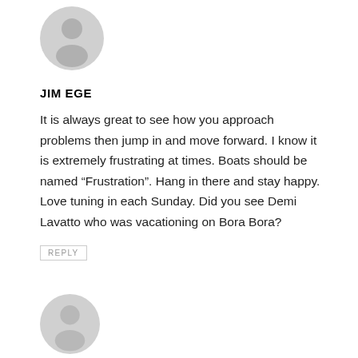[Figure (illustration): Gray placeholder avatar icon (person silhouette) at top of comment]
JIM EGE
It is always great to see how you approach problems then jump in and move forward. I know it is extremely frustrating at times. Boats should be named “Frustration”. Hang in there and stay happy. Love tuning in each Sunday. Did you see Demi Lavatto who was vacationing on Bora Bora?
REPLY
[Figure (illustration): Gray placeholder avatar icon (person silhouette) at bottom of page]